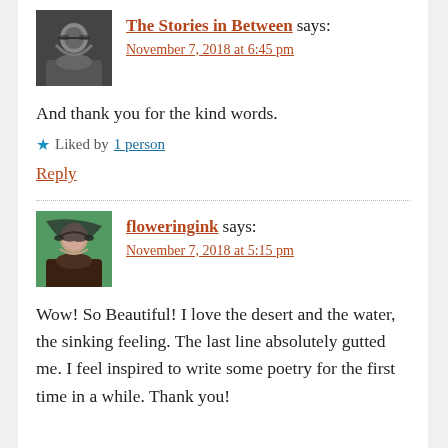[Figure (photo): Black and white avatar photo of a man with long hair and beard wearing glasses]
The Stories in Between says: November 7, 2018 at 6:45 pm
And thank you for the kind words.
★ Liked by 1 person
Reply
[Figure (photo): Color avatar photo of a woman with dark hair wearing sunglasses outdoors with green background]
floweringink says: November 7, 2018 at 5:15 pm
Wow! So Beautiful! I love the desert and the water, the sinking feeling. The last line absolutely gutted me. I feel inspired to write some poetry for the first time in a while. Thank you!